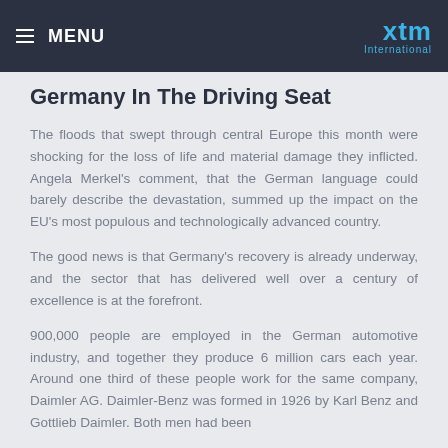MENU | XTM International
Germany In The Driving Seat
The floods that swept through central Europe this month were shocking for the loss of life and material damage they inflicted. Angela Merkel's comment, that the German language could barely describe the devastation, summed up the impact on the EU's most populous and technologically advanced country.
The good news is that Germany's recovery is already underway, and the sector that has delivered well over a century of excellence is at the forefront.
900,000 people are employed in the German automotive industry, and together they produce 6 million cars each year. Around one third of these people work for the same company, Daimler AG. Daimler-Benz was formed in 1926 by Karl Benz and Gottlieb Daimler. Both men had been